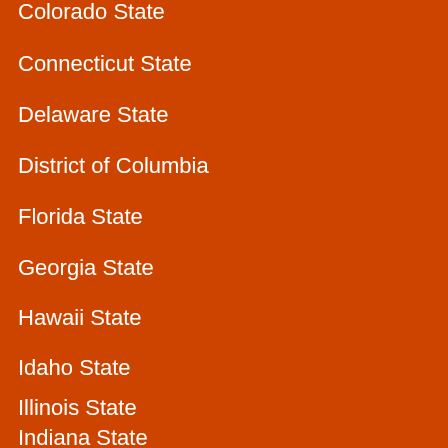Colorado State
Connecticut State
Delaware State
District of Columbia
Florida State
Georgia State
Hawaii State
Idaho State
Illinois State
Indiana State